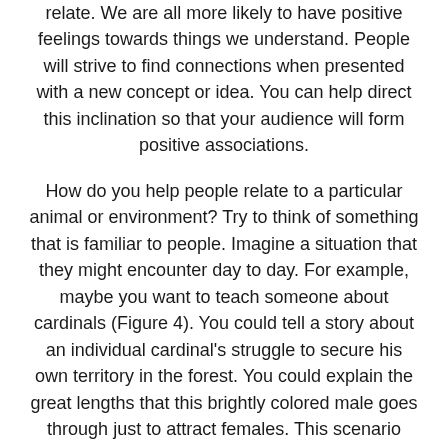relate. We are all more likely to have positive feelings towards things we understand. People will strive to find connections when presented with a new concept or idea. You can help direct this inclination so that your audience will form positive associations.
How do you help people relate to a particular animal or environment? Try to think of something that is familiar to people. Imagine a situation that they might encounter day to day. For example, maybe you want to teach someone about cardinals (Figure 4). You could tell a story about an individual cardinal's struggle to secure his own territory in the forest. You could explain the great lengths that this brightly colored male goes through just to attract females. This scenario matches people's desire to be successful and find mates of their own.